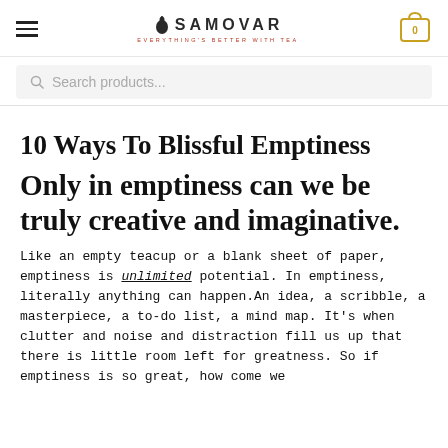SAMOVAR — EVERYTHING'S BETTER WITH TEA (navigation bar with hamburger menu and cart icon showing 0)
Search products...
10 Ways To Blissful Emptiness
Only in emptiness can we be truly creative and imaginative.
Like an empty teacup or a blank sheet of paper, emptiness is unlimited potential. In emptiness, literally anything can happen.An idea, a scribble, a masterpiece, a to-do list, a mind map. It's when clutter and noise and distraction fill us up that there is little room left for greatness. So if emptiness is so great, how come we